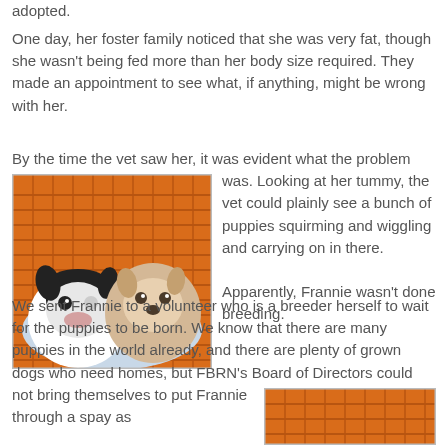adopted.
One day, her foster family noticed that she was very fat, though she wasn't being fed more than her body size required. They made an appointment to see what, if anything, might be wrong with her.
[Figure (photo): Two small puppies (one black and white, one cream/tan) sitting in an orange plastic laundry basket]
By the time the vet saw her, it was evident what the problem was. Looking at her tummy, the vet could plainly see a bunch of puppies squirming and wiggling and carrying on in there.

Apparently, Frannie wasn't done breeding.
We sent Frannie to a volunteer who is a breeder herself to wait for the puppies to be born. We know that there are many puppies in the world already, and there are plenty of grown dogs who need homes, but FBRN's Board of Directors could not bring themselves to
put Frannie through a spay as
[Figure (photo): Partial view of orange basket with small dogs, cropped at bottom of page]